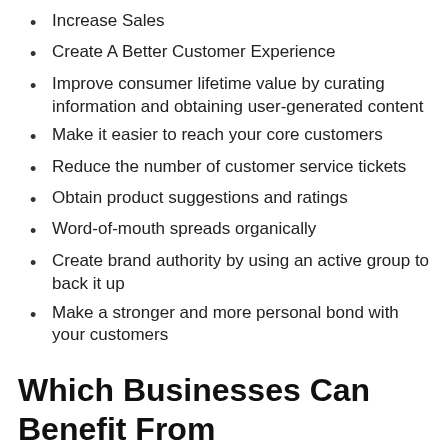Increase Sales
Create A Better Customer Experience
Improve consumer lifetime value by curating information and obtaining user-generated content
Make it easier to reach your core customers
Reduce the number of customer service tickets
Obtain product suggestions and ratings
Word-of-mouth spreads organically
Create brand authority by using an active group to back it up
Make a stronger and more personal bond with your customers
Which Businesses Can Benefit From